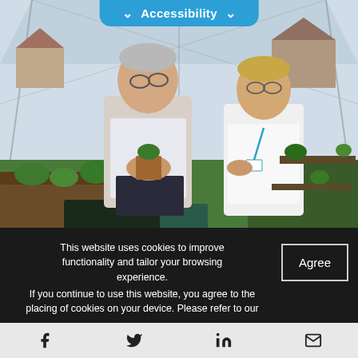Accessibility
[Figure (photo): An elderly man and a female nurse in a white uniform examine a small potted plant together inside a greenhouse. The greenhouse has glass panels and contains various plants and seedlings. The background shows residential houses through the glass.]
This website uses cookies to improve functionality and tailor your browsing experience.
If you continue to use this website, you agree to the placing of cookies on your device. Please refer to our
f  [twitter bird]  in  [envelope]